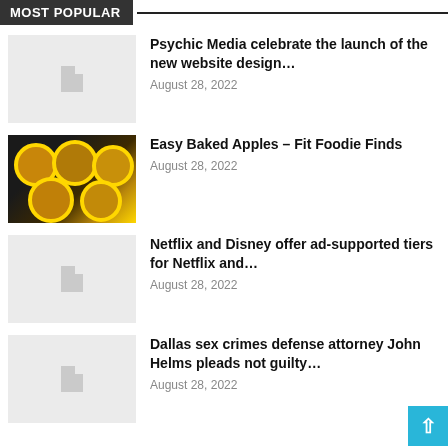MOST POPULAR
Psychic Media celebrate the launch of the new website design… August 28, 2022
Easy Baked Apples – Fit Foodie Finds August 28, 2022
Netflix and Disney offer ad-supported tiers for Netflix and… August 28, 2022
Dallas sex crimes defense attorney John Helms pleads not guilty… August 28, 2022